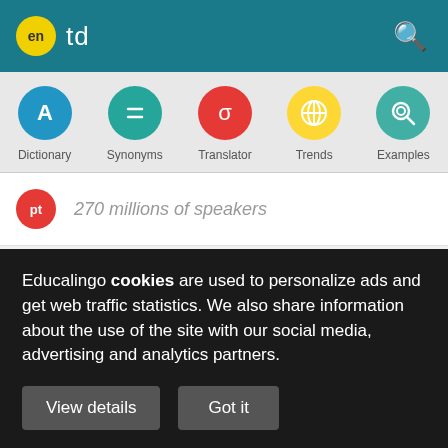en td
[Figure (screenshot): Navigation row with five circular icons: Dictionary (blue A), Synonyms (teal equals), Translator (red sigma), Trends (yellow globe), Examples (green magnifier)]
270 millions of speakers
Translator English - Bengali
TD
Educalingo cookies are used to personalize ads and get web traffic statistics. We also share information about the use of the site with our social media, advertising and analytics partners.